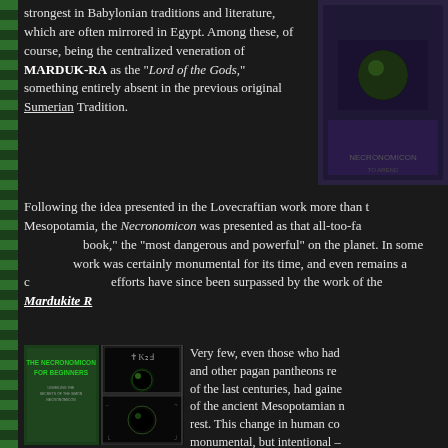strongest in Babylonian traditions and literature, which are often mirrored in Egypt. Among these, of course, being the centralized veneration of MARDUK-RA as the "Lord of the Gods," something entirely absent in the previous original Sumerian Tradition.
[Figure (photo): Book cover image in top right corner, dark purple/blue tones]
Following the idea presented in the Lovecraftian work more than the Mesopotamia, the Necronomicon was presented as that all-too-familiar "forbidden book," the "most dangerous and powerful" on the planet. In some ways the work was certainly monumental for its time, and even remains a cornerstone, but efforts have since been surpassed by the work of the Mardukite R...
[Figure (photo): The Necronomicon for Beginners book cover showing green orb on dark background with mystical symbols]
Very few, even those who had and other pagan pantheons re of the last centuries, had gaine of the ancient Mesopotamian n rest. This change in human co monumental, but intentional – where spiritual forces have ind many events in recent past. An